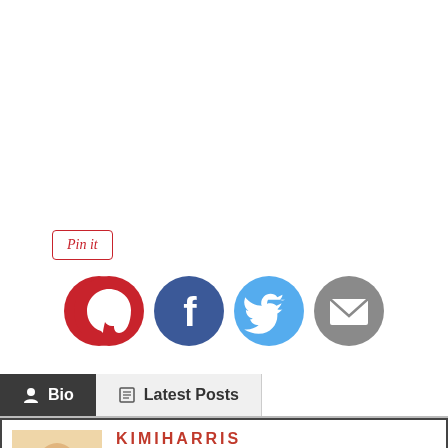[Figure (screenshot): Pin it button with red italic text inside a bordered rectangle]
[Figure (infographic): Four social media circular icons: Pinterest (red), Facebook (dark blue), Twitter (light blue), Email (gray)]
Bio | Latest Posts
KIMIHARRIS
I love beautiful and simple food that is nourishing to the body and the